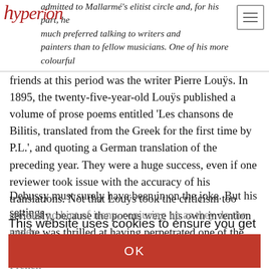Hyperion [logo] — navigation header
admitted to Mallarmé's elitist circle and, for his part, he much preferred talking to writers and painters than to fellow musicians. One of his more colourful friends at this period was the writer Pierre Louÿs. In 1895, the twenty-five-year-old Louÿs published a volume of prose poems entitled 'Les chansons de Bilitis, translated from the Greek for the first time by P.L.', and quoting a German translation of the preceding year. They were a huge success, even if one reviewer took issue with the accuracy of his translations. Not that Louÿs took the criticism too seriously, because the poems were his own invention and he was thrilled at having perpetrated one of the best literary spoofs ever.
Debussy must surely have been in on the joke. But his settings contain no hint of irony, conjuring up as they do the never-never dreamworld that was Ancient Greece to the French culture of the time—which could be summed up as 'all flesh and languor'. His publisher was doubtful about the poems' propriety. A friend recorded that 'he only just brought himself to excuse them for their grace and the frankness of their language — and even then, not all of them'. In these songs, too, Debussy abandoned the setting of strict verse for prose, giving a regular framework to the piano, over which the
This website uses cookies to ensure you get the best experience. Learn more
OK